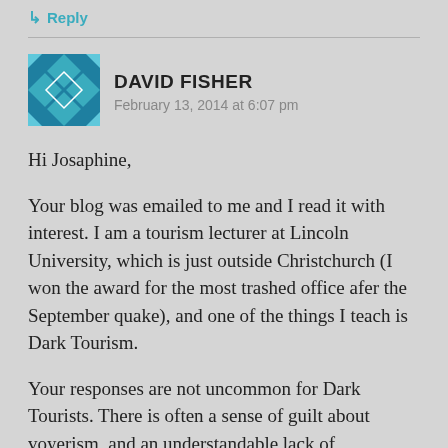↳ Reply
[Figure (illustration): Avatar image for David Fisher — teal/blue geometric snowflake pattern icon]
DAVID FISHER
February 13, 2014 at 6:07 pm
Hi Josaphine,
Your blog was emailed to me and I read it with interest. I am a tourism lecturer at Lincoln University, which is just outside Christchurch (I won the award for the most trashed office afer the September quake), and one of the things I teach is Dark Tourism.
Your responses are not uncommon for Dark Tourists. There is often a sense of guilt about voyerism, and an understandable lack of